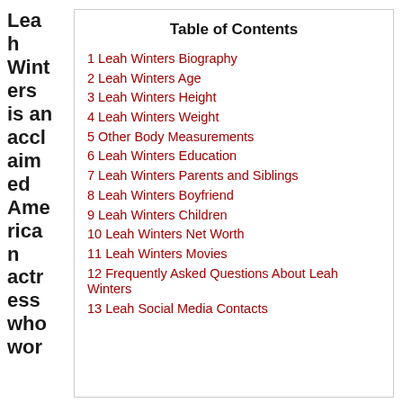Leah Winters is an acclaimed American actress who wor
Table of Contents
1 Leah Winters Biography
2 Leah Winters Age
3 Leah Winters Height
4 Leah Winters Weight
5 Other Body Measurements
6 Leah Winters Education
7 Leah Winters Parents and Siblings
8 Leah Winters Boyfriend
9 Leah Winters Children
10 Leah Winters Net Worth
11 Leah Winters Movies
12 Frequently Asked Questions About Leah Winters
13 Leah Social Media Contacts